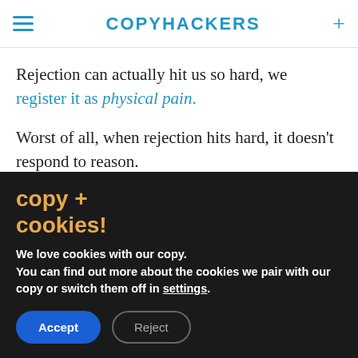COPYHACKERS
Rejection can actually hit us so hard, we register it as physical pain.
Worst of all, when rejection hits hard, it doesn't respond to reason.
Technically my experience wasn't writer
copy + cookies!
We love cookies with our copy. You can find out more about the cookies we pair with our copy or switch them off in settings.
Accept | Reject